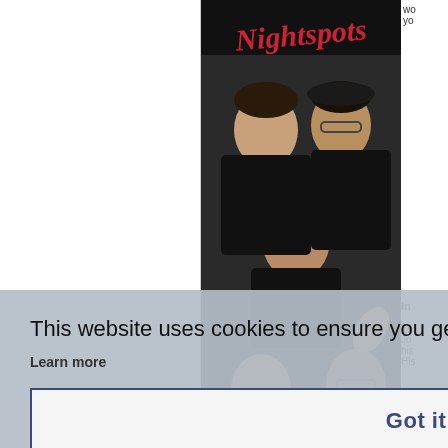[Figure (photo): Screenshot of a website showing a band photo with 'Nightspots' text logo at top in red cursive, multiple band members in black clothing grouped together]
This website uses cookies to ensure you get the best experience on our website.
Learn more
Got it!